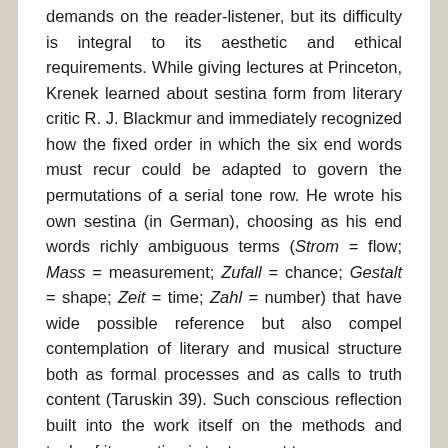demands on the reader-listener, but its difficulty is integral to its aesthetic and ethical requirements. While giving lectures at Princeton, Krenek learned about sestina form from literary critic R. J. Blackmur and immediately recognized how the fixed order in which the six end words must recur could be adapted to govern the permutations of a serial tone row. He wrote his own sestina (in German), choosing as his end words richly ambiguous terms (Strom = flow; Mass = measurement; Zufall = chance; Gestalt = shape; Zeit = time; Zahl = number) that have wide possible reference but also compel contemplation of literary and musical structure both as formal processes and as calls to truth content (Taruskin 39). Such conscious reflection built into the work itself on the methods and tools of its creation is tantamount to